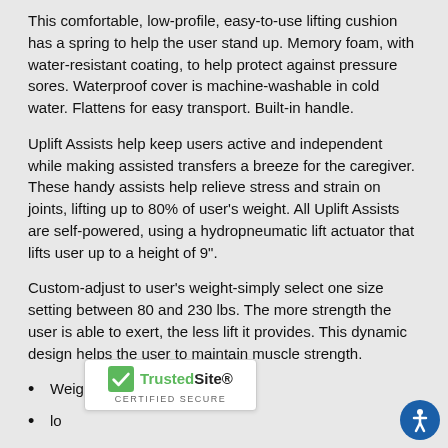This comfortable, low-profile, easy-to-use lifting cushion has a spring to help the user stand up. Memory foam, with water-resistant coating, to help protect against pressure sores. Waterproof cover is machine-washable in cold water. Flattens for easy transport. Built-in handle.
Uplift Assists help keep users active and independent while making assisted transfers a breeze for the caregiver. These handy assists help relieve stress and strain on joints, lifting up to 80% of user's weight. All Uplift Assists are self-powered, using a hydropneumatic lift actuator that lifts user up to a height of 9".
Custom-adjust to user's weight-simply select one size setting between 80 and 230 lbs. The more strength the user is able to exert, the less lift it provides. This dynamic design helps the user to maintain muscle strength.
Weight Capacity : 230 lbs
lo
[Figure (logo): TrustedSite Certified Secure badge with green checkmark]